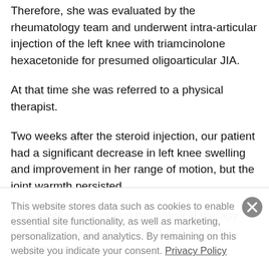Therefore, she was evaluated by the rheumatology team and underwent intra-articular injection of the left knee with triamcinolone hexacetonide for presumed oligoarticular JIA.
At that time she was referred to a physical therapist.
Two weeks after the steroid injection, our patient had a significant decrease in left knee swelling and improvement in her range of motion, but the joint warmth persisted.
Four weeks later, during her physical therapy session, her left knee swelling and warmth recurred, and she
This website stores data such as cookies to enable essential site functionality, as well as marketing, personalization, and analytics. By remaining on this website you indicate your consent. Privacy Policy